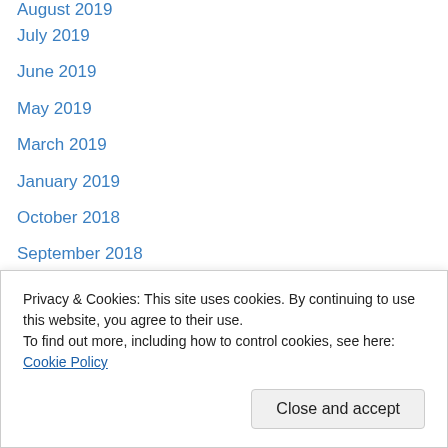August 2019
July 2019
June 2019
May 2019
March 2019
January 2019
October 2018
September 2018
August 2018
July 2018
June 2018
May 2018
April 2018
March 2018
August 2017
Privacy & Cookies: This site uses cookies. By continuing to use this website, you agree to their use.
To find out more, including how to control cookies, see here: Cookie Policy